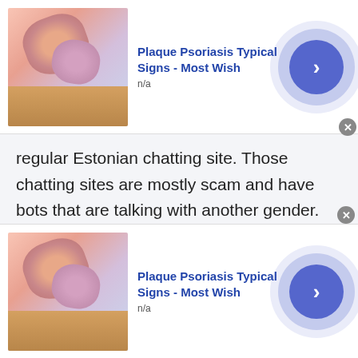[Figure (other): Top advertisement banner: image of psoriasis skin patch, title 'Plaque Psoriasis Typical Signs - Most Wish', subtitle 'n/a', blue circular arrow button]
regular Estonian chatting site. Those chatting sites are mostly scam and have bots that are talking with another gender. Their main purpose is to take advantage of the other people's needs and wants. These needs and wants could be both biological and psychological.
Free Platform to chat online for free internationally:
Talkwithstranger is the only online free platform
[Figure (other): Bottom advertisement banner: image of psoriasis skin patch, title 'Plaque Psoriasis Typical Signs - Most Wish', subtitle 'n/a', blue circular arrow button]